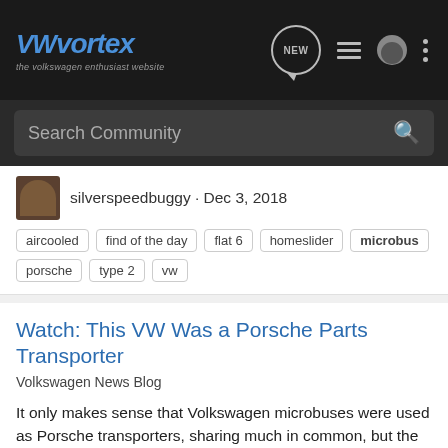VWvortex — the volkswagen enthusiast website
Search Community
silverspeedbuggy · Dec 3, 2018
aircooled
find of the day
flat 6
homeslider
microbus
porsche
type 2
vw
Watch: This VW Was a Porsche Parts Transporter
Volkswagen News Blog
It only makes sense that Volkswagen microbuses were used as Porsche transporters, sharing much in common, but the story here goes a little deeper. Now owned by Scooter Gabel (definitely a pseudonym), the Type 2 was first bought by Vasek Polak Porsche in 1969. The dealership needed a way to get...
0   558